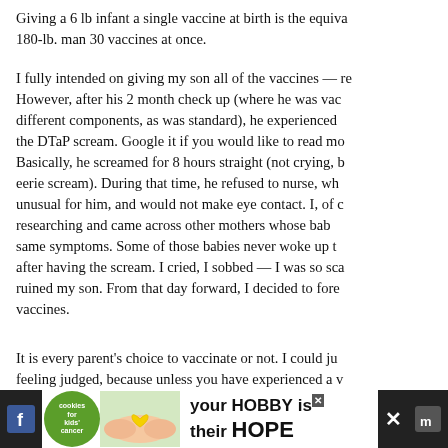Giving a 6 lb infant a single vaccine at birth is the equivalent of giving a 180-lb. man 30 vaccines at once.
I fully intended on giving my son all of the vaccines — re... However, after his 2 month check up (where he was vaccinated with different components, as was standard), he experienced the DTaP scream. Google it if you would like to read mo... Basically, he screamed for 8 hours straight (not crying, b... eerie scream). During that time, he refused to nurse, wh... unusual for him, and would not make eye contact. I, of c... researching and came across other mothers whose bab... same symptoms. Some of those babies never woke up t... after having the scream. I cried, I sobbed — I was so sca... ruined my son. From that day forward, I decided to fore... vaccines.
It is every parent's choice to vaccinate or not. I could ju... feeling judged, because unless you have experienced a v... you have no idea what you would do in my shoes.
[Figure (infographic): Advertisement banner at the bottom: 'cookies for kids cancer' logo (green circle with cookie icon), hands holding a heart-shaped cookie, text reading 'your HOBBY is their HOPE' with social media icons on sides and a close button]